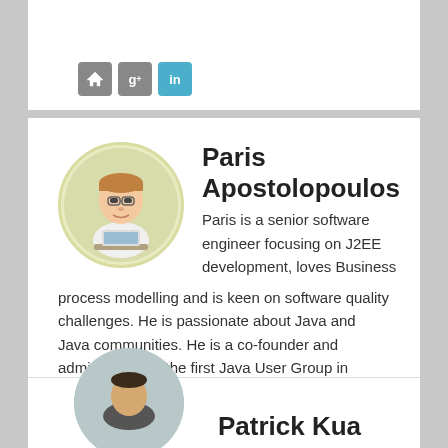[Figure (other): Social media icon buttons: home, Google+, LinkedIn (top card)]
[Figure (illustration): Circular avatar illustration of Paris Apostolopoulos, cartoon style person sitting at a desk]
Paris Apostolopoulos
Paris is a senior software engineer focusing on J2EE development, loves Business process modelling and is keen on software quality challenges. He is passionate about Java and Java communities. He is a co-founder and administrator of the first Java User Group in greece(JHUG.gr) and occasional speaker on meet-ups and seminars and regular blogger. For his contributions and involvement on the Java community he has been awarded the title of Java Champion in 2007 by Sun Microsystems.
[Figure (other): Social media icon buttons: home, Twitter, Facebook, Google+, LinkedIn]
Patrick Kua